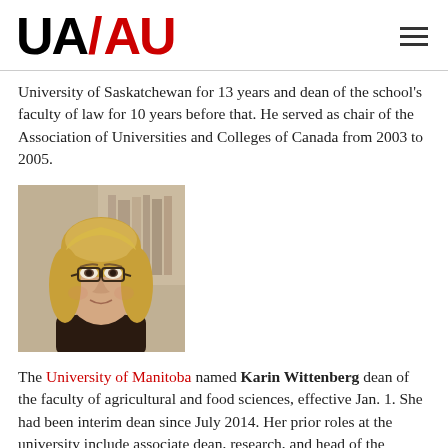UA/AU
University of Saskatchewan for 13 years and dean of the school's faculty of law for 10 years before that. He served as chair of the Association of Universities and Colleges of Canada from 2003 to 2005.
[Figure (photo): Portrait photo of Karin Wittenberg, a woman with blonde hair and glasses, wearing a dark top, with bookshelves in the background.]
The University of Manitoba named Karin Wittenberg dean of the faculty of agricultural and food sciences, effective Jan. 1. She had been interim dean since July 2014. Her prior roles at the university include associate dean, research, and head of the animal science department. Dr. Wittenberg is a researcher in sustainable animal production systems and was instrumental in developing the